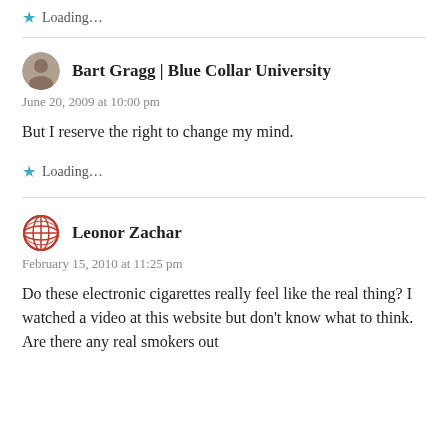Loading...
Bart Gragg | Blue Collar University
June 20, 2009 at 10:00 pm
But I reserve the right to change my mind.
Loading...
Leonor Zachar
February 15, 2010 at 11:25 pm
Do these electronic cigarettes really feel like the real thing? I watched a video at this website but don't know what to think. Are there any real smokers out